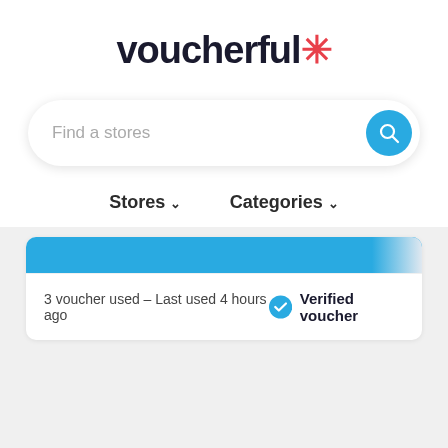voucherful*
Find a stores
Stores ∨   Categories ∨
3 voucher used – Last used 4 hours ago
Verified voucher